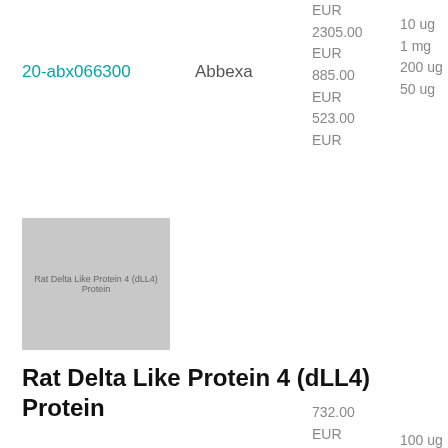20-abx066300
Abbexa
EUR
2305.00
EUR
885.00
EUR
523.00
EUR
10 ug
1 mg
200 ug
50 ug
[Figure (photo): Product image placeholder showing text: Rat Delta Like Protein 4 (dLL4) Protein]
Rat Delta Like Protein 4 (dLL4) Protein
732.00
EUR
286.00
EUR
100 ug
10 ug